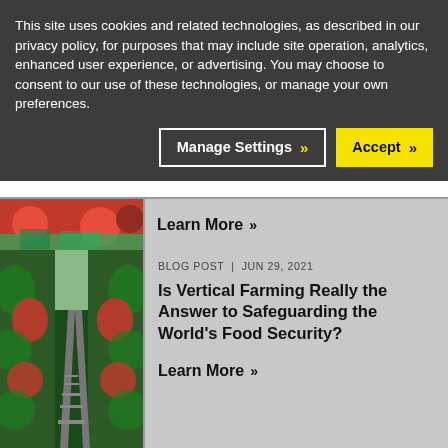This site uses cookies and related technologies, as described in our privacy policy, for purposes that may include site operation, analytics, enhanced user experience, or advertising. You may choose to consent to our use of these technologies, or manage your own preferences.
Manage Settings
Accept
[Figure (photo): Close-up of red tomatoes and vegetables]
Learn More
[Figure (photo): Vertical farming greenhouse with tall rows of tomato plants growing on rails, perspective view down the aisle]
BLOG POST | Jun 29, 2021
Is Vertical Farming Really the Answer to Safeguarding the World's Food Security?
Learn More
[Figure (photo): Partial view of leafy green plants, bottom of page]
BLOG POST | Jun 15, 2021 (partial)